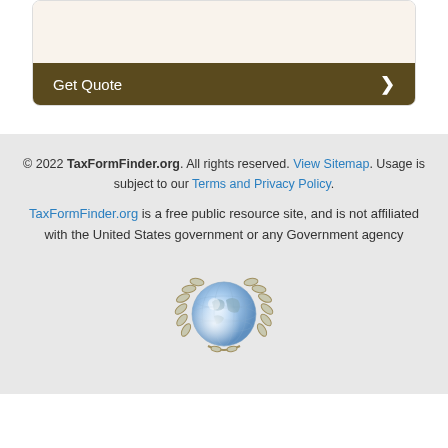[Figure (screenshot): Get Quote button - dark brown button with right arrow chevron]
© 2022 TaxFormFinder.org. All rights reserved. View Sitemap. Usage is subject to our Terms and Privacy Policy. TaxFormFinder.org is a free public resource site, and is not affiliated with the United States government or any Government agency
[Figure (logo): Globe with laurel wreath logo]